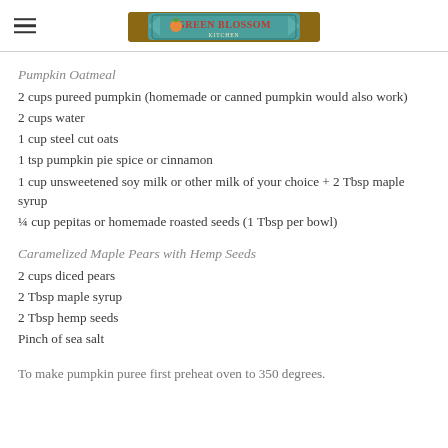Green Blossom (logo)
Pumpkin Oatmeal
2 cups pureed pumpkin (homemade or canned pumpkin would also work)
2 cups water
1 cup steel cut oats
1 tsp pumpkin pie spice or cinnamon
1 cup unsweetened soy milk or other milk of your choice + 2 Tbsp maple syrup
¼ cup pepitas or homemade roasted seeds (1 Tbsp per bowl)
Caramelized Maple Pears with Hemp Seeds
2 cups diced pears
2 Tbsp maple syrup
2 Tbsp hemp seeds
Pinch of sea salt
To make pumpkin puree first preheat oven to 350 degrees.